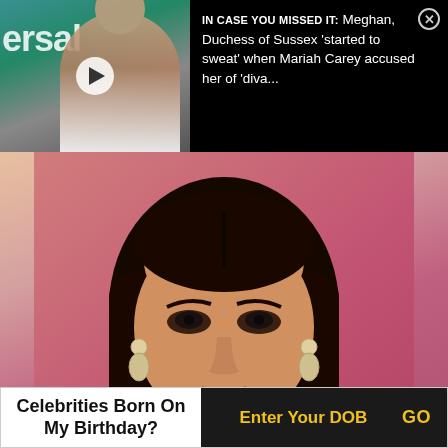[Figure (screenshot): Banner advertisement overlay on black background showing thumbnail of Meghan, Duchess of Sussex with play button, text reading 'IN CASE YOU MISSED IT: Meghan, Duchess of Sussex started to sweat when Mariah Carey accused her of diva...' with close button (X)]
[Figure (photo): Main photograph of a South Asian female celebrity with long dark hair, chandelier earrings, wearing a floral orange/white top, against a pink/red background]
Celebrities Born On My Birthday?
Enter Your DOB
GO